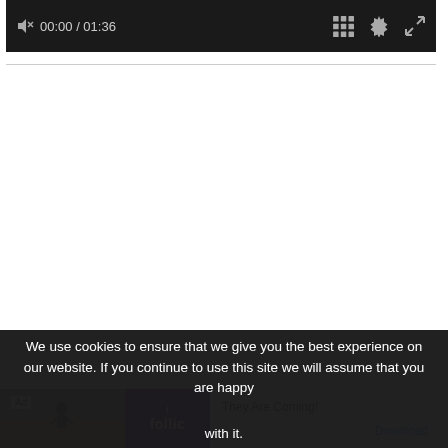[Figure (screenshot): Video player controls bar showing speaker/mute icon, timestamp 00:00 / 01:36, grid icon, settings gear icon, and expand icon on dark background]
We use cookies to ensure that we give you the best experience on our website. If you continue to use this site we will assume that you are happy with it.
[Figure (screenshot): Advertisement banner showing 'Ad' label, game image with character on wood floor, purple Follic logo box, text 'They Are Coming!' and a Download button link]